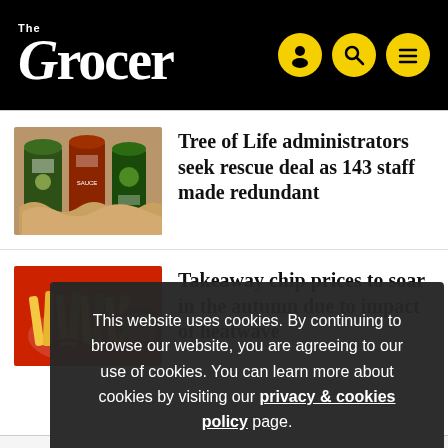The Grocer
[Figure (photo): Tree of Life product jars and food products displayed together]
Tree of Life administrators seek rescue deal as 143 staff made redundant
[Figure (photo): Takeaway chips and fast food on a red tray]
Takeaway chip prices to soar in the autumn due to impact of heatwave
This website uses cookies. By continuing to browse our website, you are agreeing to our use of cookies. You can learn more about cookies by visiting our privacy & cookies policy page.
OK